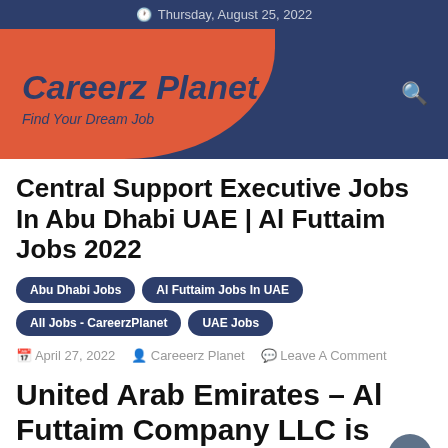Thursday, August 25, 2022
Careerz Planet
Find Your Dream Job
Central Support Executive Jobs In Abu Dhabi UAE | Al Futtaim Jobs 2022
Abu Dhabi Jobs
Al Futtaim Jobs In UAE
All Jobs - CareerzPlanet
UAE Jobs
April 27, 2022   Careeerz Planet   Leave A Comment
United Arab Emirates – Al Futtaim Company LLC is